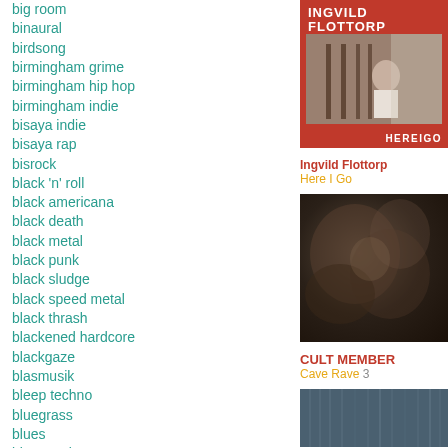big room
binaural
birdsong
birmingham grime
birmingham hip hop
birmingham indie
bisaya indie
bisaya rap
bisrock
black 'n' roll
black americana
black death
black metal
black punk
black sludge
black speed metal
black thrash
blackened hardcore
blackgaze
blasmusik
bleep techno
bluegrass
blues
blues rock
bodo pop
[Figure (photo): Album cover for Ingvild Flottorp - Here I Go, red background with photo of person on stairs]
Ingvild Flottorp
Here I Go
[Figure (photo): Album cover for Cult Member - Cave Rave 3, dark moody image]
CULT MEMBER
Cave Rave 3
[Figure (photo): Partial album cover, teal/blue tones]